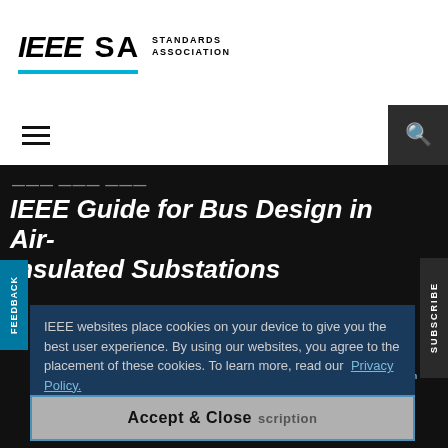[Figure (logo): IEEE SA Standards Association logo with blue underline bar]
[Figure (screenshot): Navigation bar with hamburger menu icon on left and search icon on dark background on right]
IEEE Guide for Bus Design in Air-Insulated Substations
IEEE websites place cookies on your device to give you the best user experience. By using our websites, you agree to the placement of these cookies. To learn more, read our Privacy Policy.
Accept & Close
Purchase
Add to Subscription